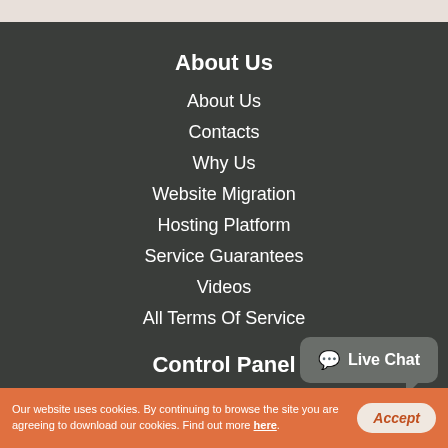About Us
About Us
Contacts
Why Us
Website Migration
Hosting Platform
Service Guarantees
Videos
All Terms Of Service
Control Panel
Web Hosting Control Panel
Hepsia vs cPanel
Web Accelerators
Free Themes
Live Chat
Our website uses cookies. By continuing to browse the site you are agreeing to download our cookies. Find out more here.
Accept